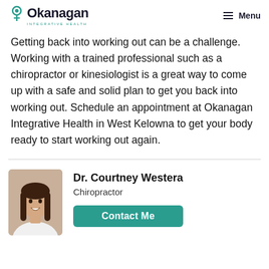Okanagan Integrative Health — Menu
Getting back into working out can be a challenge. Working with a trained professional such as a chiropractor or kinesiologist is a great way to come up with a safe and solid plan to get you back into working out. Schedule an appointment at Okanagan Integrative Health in West Kelowna to get your body ready to start working out again.
[Figure (photo): Headshot photo of Dr. Courtney Westera, a woman with long brown hair, smiling, wearing a white top.]
Dr. Courtney Westera
Chiropractor
Contact Me